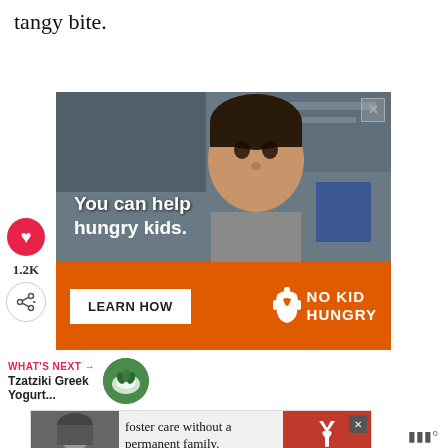tangy bite.
[Figure (photo): Advertisement banner for No Kid Hungry featuring a young boy eating, with orange bottom section showing 'You can help hungry kids. LEARN HOW' and the No Kid Hungry logo. Has a close (X) button in top-right corner.]
1.2K
WHAT'S NEXT → Tzatziki Greek Yogurt...
[Figure (photo): Small circular thumbnail image of Tzatziki Greek Yogurt dish with herbs.]
[Figure (photo): Bottom advertisement banner for Dave Thomas Foundation for Adoption featuring a woman in black and white photo with text 'foster care without a permanent family.' and the foundation logo.]